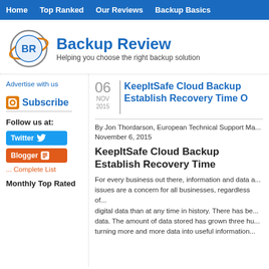Home | Top Ranked | Our Reviews | Backup Basics
[Figure (logo): Backup Review logo with circular icon showing BR letters and orange ring]
Backup Review
Helping you choose the right backup solution
Advertise with us
06 NOV 2015
KeepItSafe Cloud Backup Establish Recovery Time O
Subscribe
Follow us at:
Twitter
Blogger
... Complete List
Monthly Top Rated
By Jon Thordarson, European Technical Support Ma... November 6, 2015
KeepItSafe Cloud Backup Establish Recovery Time
For every business out there, information and data a... issues are a concern for all businesses, regardless of... digital data than at any time in history. There has be... data. The amount of data stored has grown three hu... turning more and more data into useful information...